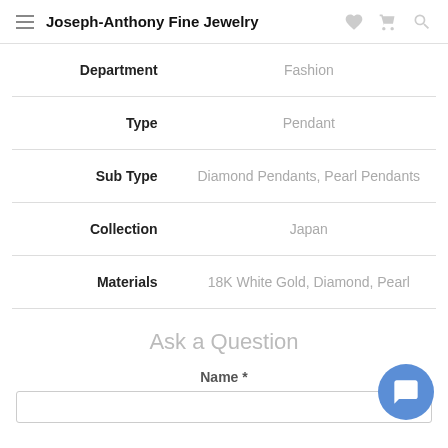Joseph-Anthony Fine Jewelry
| Label | Value |
| --- | --- |
| Department | Fashion |
| Type | Pendant |
| Sub Type | Diamond Pendants, Pearl Pendants |
| Collection | Japan |
| Materials | 18K White Gold, Diamond, Pearl |
Ask a Question
Name *